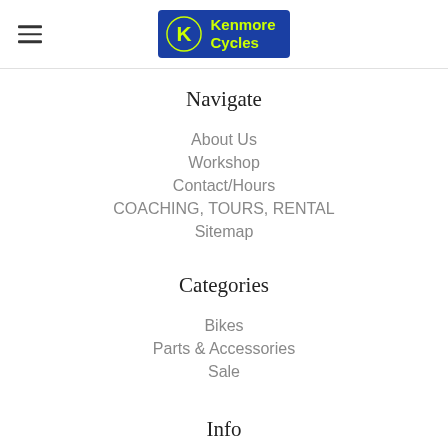Kenmore Cycles
Navigate
About Us
Workshop
Contact/Hours
COACHING, TOURS, RENTAL
Sitemap
Categories
Bikes
Parts & Accessories
Sale
Info
Kenmore Cycles